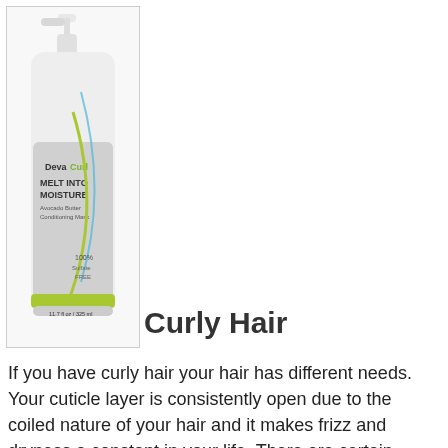[Figure (photo): DevaCurl Melt Into Moisture Avocado Butter Conditioning Mask product bottle with pump dispenser, white bottle with green and silver label, 11.7 fl oz / 325 ml]
Curly Hair
If you have curly hair your hair has different needs. Your cuticle layer is consistently open due to the coiled nature of your hair and it makes frizz and dryness a constant in your life. There are certain ingredients that sren't horrible for your